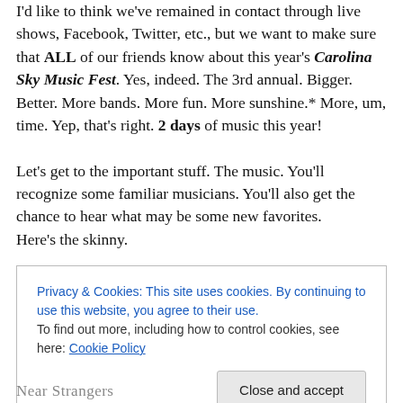I'd like to think we've remained in contact through live shows, Facebook, Twitter, etc., but we want to make sure that ALL of our friends know about this year's Carolina Sky Music Fest. Yes, indeed. The 3rd annual. Bigger. Better. More bands. More fun. More sunshine.* More, um, time. Yep, that's right. 2 days of music this year!

Let's get to the important stuff. The music. You'll recognize some familiar musicians. You'll also get the chance to hear what may be some new favorites.
Here's the skinny.
Privacy & Cookies: This site uses cookies. By continuing to use this website, you agree to their use.
To find out more, including how to control cookies, see here: Cookie Policy
[Close and accept button]
Near Strangers